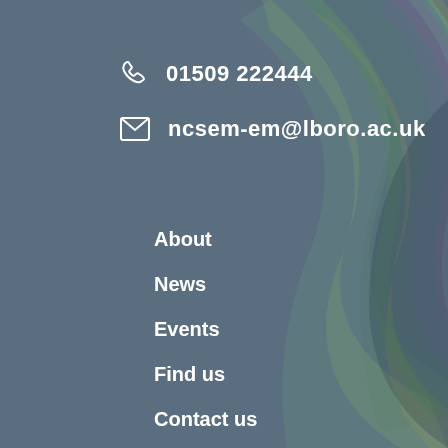01509 222444
ncsem-em@lboro.ac.uk
About
News
Events
Find us
Contact us
Patients
Research
Study with us